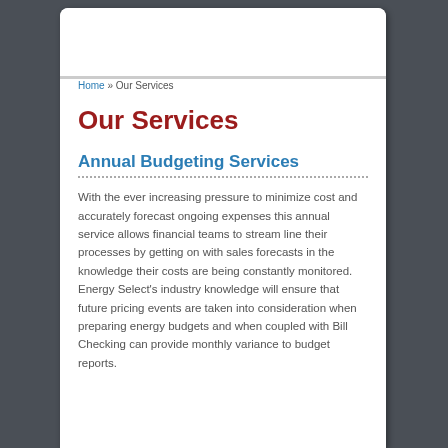Home » Our Services
Our Services
Annual Budgeting Services
With the ever increasing pressure to minimize cost and accurately forecast ongoing expenses this annual service allows financial teams to stream line their processes by getting on with sales forecasts in the knowledge their costs are being constantly monitored. Energy Select's industry knowledge will ensure that future pricing events are taken into consideration when preparing energy budgets and when coupled with Bill Checking can provide monthly variance to budget reports.